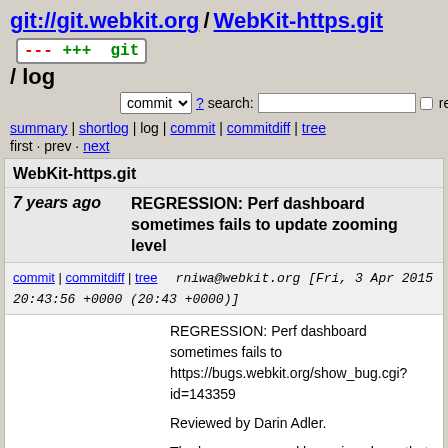git://git.webkit.org / WebKit-https.git / log
commit ? search: re
summary | shortlog | log | commit | commitdiff | tree
first · prev · next
WebKit-https.git
7 years ago   REGRESSION: Perf dashboard sometimes fails to update zooming level
commit | commitdiff | tree   rniwa@webkit.org [Fri, 3 Apr 2015 20:43:56 +0000 (20:43 +0000)]
REGRESSION: Perf dashboard sometimes fails to https://bugs.webkit.org/show_bug.cgi?id=143359

Reviewed by Darin Adler.

The bug was caused by various bugs that ended u

* public/v2/app.js:
(App.Pane._handleFetchErrors): Removed superf
(App.Pane.computeStatus): Fixed the bug in r182.
(App.PaneController.actions.zoomed): Update the
* public/v2/index.html: Replaced all instances of h
to # when Ember.js fails to attach event listeners c